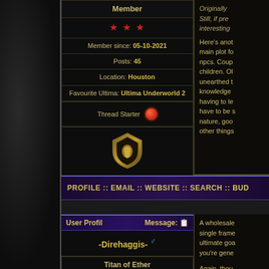| Field | Value |
| --- | --- |
| Member |  |
| ★★★ |  |
| Member since: | 05-10-2021 |
| Posts: | 45 |
| Location: | Houston |
| Favourite Ultima: | Ultima Underworld 2 |
| Thread Starter |  |
Originally Still, if pre interesting
Here's anot main plot fo npcs. Coup children. Ol unearthed t knowledge having to le have to be s nature, goo other things
PROFILE :: EMAIL :: WEBSITE :: SEARCH :: BUD
User Profil    Message:
-Direhaggis- ♂
Titan of Ether
[Figure (illustration): Banner image with starry blue/purple background and figure with arms raised, text reading 'be lights ... Ether']
Member since: 17-09-2021
A wholesale single frame ultimate goa you're gene
Again, thou task--unless